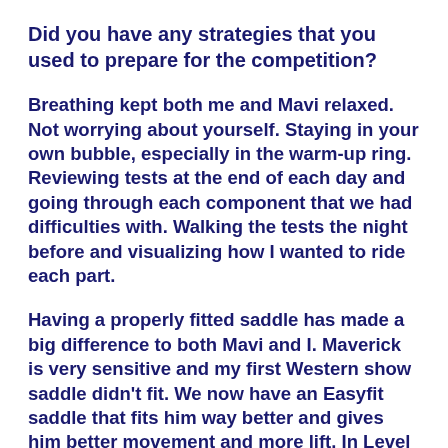Did you have any strategies that you used to prepare for the competition?
Breathing kept both me and Mavi relaxed. Not worrying about yourself. Staying in your own bubble, especially in the warm-up ring. Reviewing tests at the end of each day and going through each component that we had difficulties with. Walking the tests the night before and visualizing how I wanted to ride each part.
Having a properly fitted saddle has made a big difference to both Mavi and I. Maverick is very sensitive and my first Western show saddle didn't fit. We now have an Easyfit saddle that fits him way better and gives him better movement and more lift. In Level 1 we do leg yields and lengthenings in the jog. He would…